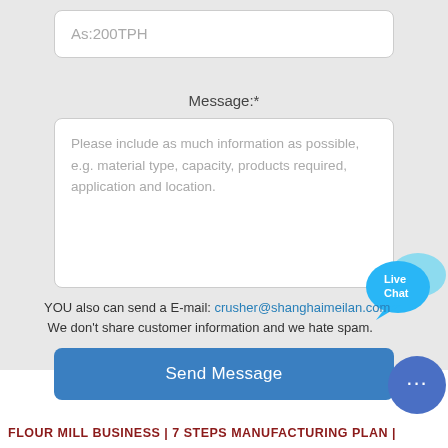As:200TPH
Message:*
Please include as much information as possible, e.g. material type, capacity, products required, application and location.
[Figure (illustration): Live Chat speech bubble icon in blue]
YOU also can send a E-mail: crusher@shanghaimeilan.com
We don't share customer information and we hate spam.
Send Message
[Figure (illustration): Blue circular chat button with three dots]
FLOUR MILL BUSINESS | 7 STEPS MANUFACTURING PLAN |